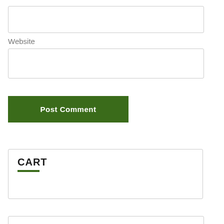[Figure (other): Empty input text box (top, no label)]
Website
[Figure (other): Empty input text box for Website field]
Post Comment
CART
[Figure (other): Empty partial box at bottom of page]